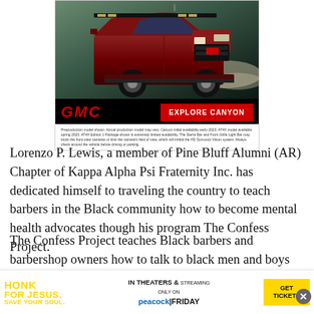[Figure (photo): GMC Canyon truck advertisement showing a dark red pickup truck driving on a rocky terrain. Bottom bar has GMC logo in red italic text and a red 'EXPLORE CANYON' button. Small disclaimer text below.]
Lorenzo P. Lewis, a member of Pine Bluff Alumni (AR) Chapter of Kappa Alpha Psi Fraternity Inc. has dedicated himself to traveling the country to teach barbers in the Black community how to become mental health advocates though his program The Confess Project.
The Confess Project teaches Black barbers and barbershop owners how to talk to black men and boys about mental health, anxiety, depression and the negative effects that toxic masculinity have on the mind and s hed over western
[Figure (other): Bottom banner ad for 'Honk For Jesus. Save Your Soul.' movie. Shows movie title in yellow text, 'In Theaters & Streaming Only On Peacock Friday', and a yellow 'Get Tickets' button. Close X button on right.]